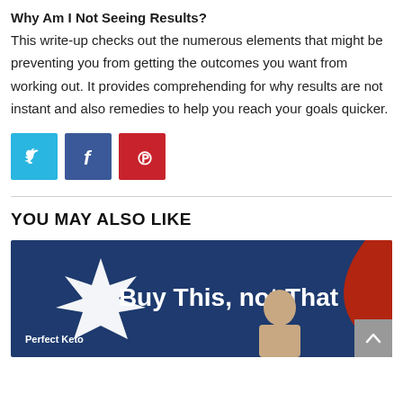Why Am I Not Seeing Results?
This write-up checks out the numerous elements that might be preventing you from getting the outcomes you want from working out. It provides comprehending for why results are not instant and also remedies to help you reach your goals quicker.
[Figure (infographic): Three social media share buttons: Twitter (light blue), Facebook (dark blue), Pinterest (red) with respective icons.]
YOU MAY ALSO LIKE
[Figure (infographic): Dark blue promotional banner with white bold text 'Buy This, not That', 'Perfect Keto' label, burst graphic, person photo, and red arc graphic in bottom right.]